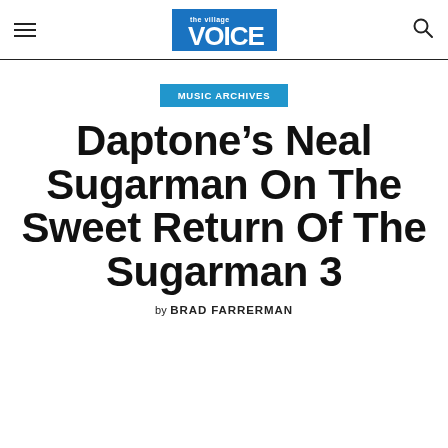the village VOICE
MUSIC ARCHIVES
Daptone’s Neal Sugarman On The Sweet Return Of The Sugarman 3
by BRAD FARRERMAN